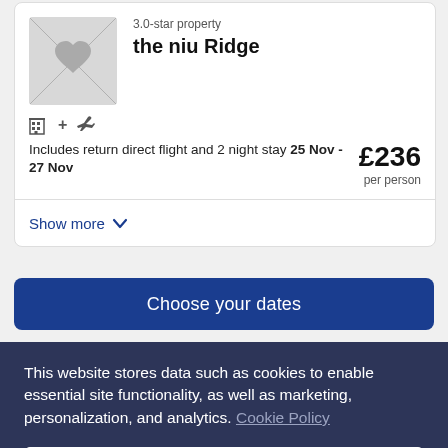[Figure (photo): Hotel thumbnail placeholder image with grey background and location pin icon]
3.0-star property
the niu Ridge
[Figure (infographic): Icons: building + airplane representing hotel and flight package]
Includes return direct flight and 2 night stay 25 Nov - 27 Nov
£236 per person
Show more
Choose your dates
This website stores data such as cookies to enable essential site functionality, as well as marketing, personalization, and analytics. Cookie Policy
Accept
Deny